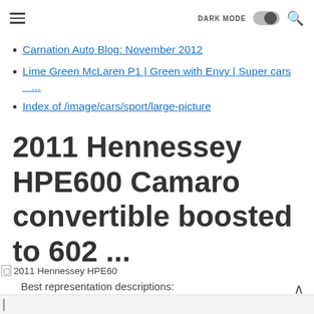DARK MODE [toggle] [search]
Carnation Auto Blog: November 2012
Lime Green McLaren P1 | Green with Envy | Super cars ...
Index of /image/cars/sport/large-picture
2011 Hennessey HPE600 Camaro convertible boosted to 602 ...
[Figure (photo): 2011 Hennessey HPE60 image placeholder]
Best representation descriptions: